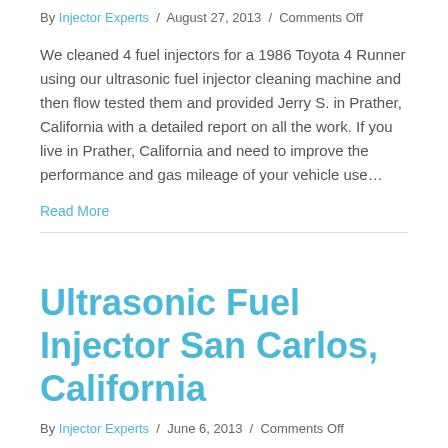By Injector Experts / August 27, 2013 / Comments Off
We cleaned 4 fuel injectors for a 1986 Toyota 4 Runner using our ultrasonic fuel injector cleaning machine and then flow tested them and provided Jerry S. in Prather, California with a detailed report on all the work. If you live in Prather, California and need to improve the performance and gas mileage of your vehicle use…
Read More
Ultrasonic Fuel Injector San Carlos, California
By Injector Experts / June 6, 2013 / Comments Off